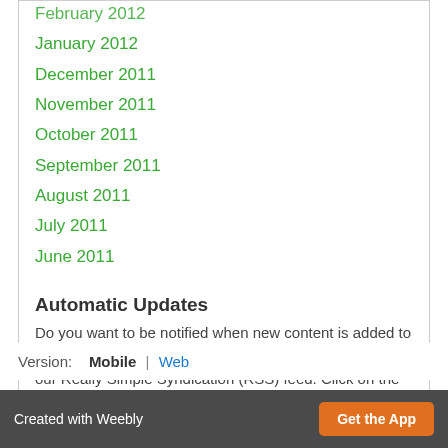February 2012 (partial, cut off)
January 2012
December 2011
November 2011
October 2011
September 2011
August 2011
July 2011
June 2011
Automatic Updates
Do you want to be notified when new content is added to this newsfeed? Most browsers allow you to subscribe to our Really Simple Syndication (RSS) feed. Click on the RSS link below, and follow the instructions.
RSS Feed
Version:   Mobile  |  Web
Created with Weebly   Get the App